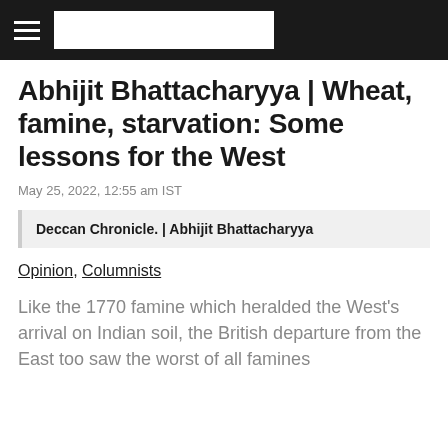Deccan Chronicle
Abhijit Bhattacharyya | Wheat, famine, starvation: Some lessons for the West
May 25, 2022, 12:55 am IST
Deccan Chronicle. | Abhijit Bhattacharyya
Opinion, Columnists
Like the 1770 famine which heralded the West's arrival on Indian soil, the British departure from the East too saw the worst of all famines